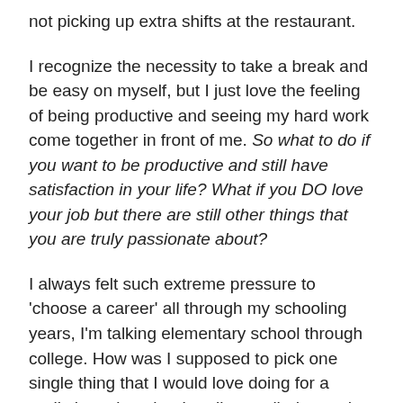not picking up extra shifts at the restaurant.
I recognize the necessity to take a break and be easy on myself, but I just love the feeling of being productive and seeing my hard work come together in front of me. So what to do if you want to be productive and still have satisfaction in your life? What if you DO love your job but there are still other things that you are truly passionate about?
I always felt such extreme pressure to 'choose a career' all through my schooling years, I'm talking elementary school through college. How was I supposed to pick one single thing that I would love doing for a really long time that I really excelled at and would give me both a feeling of satisfaction and hopefully success? There was no way! I like doing so many different things! I went to